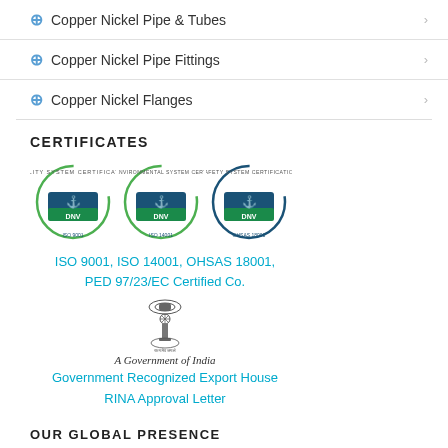Copper Nickel Pipe & Tubes
Copper Nickel Pipe Fittings
Copper Nickel Flanges
CERTIFICATES
[Figure (logo): Three DNV certification badges: ISO 9001 Quality System Certification, ISO 14001 Environmental System Certification, OHSAS 18001 Safety System Certification]
ISO 9001, ISO 14001, OHSAS 18001, PED 97/23/EC Certified Co.
[Figure (logo): Government of India emblem (Ashoka Pillar) with text 'A Government of India']
A Government of India
Government Recognized Export House
RINA Approval Letter
OUR GLOBAL PRESENCE